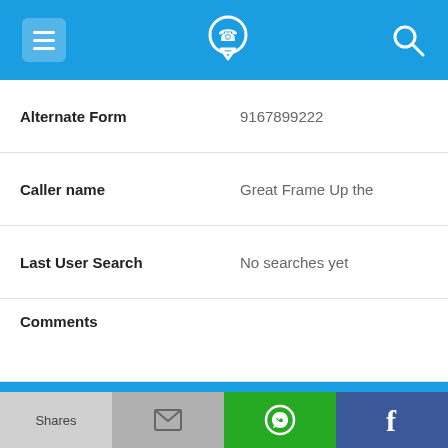App navigation bar with menu, phone logo, and search icons
| Field | Value |
| --- | --- |
| Alternate Form | 9167899222 |
| Caller name | Great Frame Up the |
| Last User Search | No searches yet |
| Comments |  |
916-789-9810
| Field | Value |
| --- | --- |
| Alternate Form | 9167899810 |
| Caller name | 8 Listings found |
Shares | [email icon] | [WhatsApp icon] | [Facebook icon]